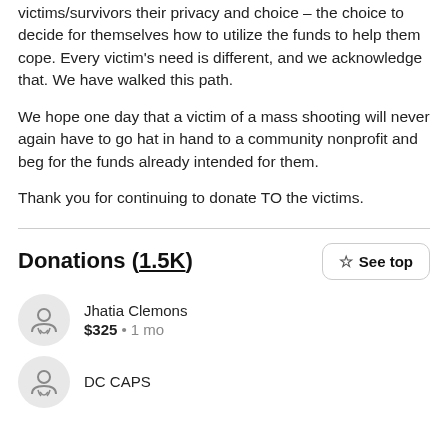victims/survivors their privacy and choice – the choice to decide for themselves how to utilize the funds to help them cope. Every victim's need is different, and we acknowledge that. We have walked this path.
We hope one day that a victim of a mass shooting will never again have to go hat in hand to a community nonprofit and beg for the funds already intended for them.
Thank you for continuing to donate TO the victims.
Donations (1.5K)
Jhatia Clemons
$325 · 1 mo
DC CAPS